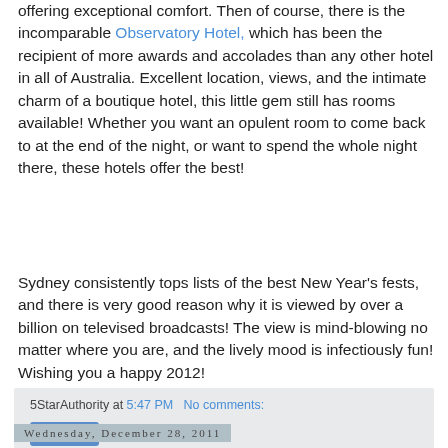offering exceptional comfort. Then of course, there is the incomparable Observatory Hotel, which has been the recipient of more awards and accolades than any other hotel in all of Australia. Excellent location, views, and the intimate charm of a boutique hotel, this little gem still has rooms available! Whether you want an opulent room to come back to at the end of the night, or want to spend the whole night there, these hotels offer the best!
Sydney consistently tops lists of the best New Year's fests, and there is very good reason why it is viewed by over a billion on televised broadcasts! The view is mind-blowing no matter where you are, and the lively mood is infectiously fun! Wishing you a happy 2012!
5StarAuthority at 5:47 PM   No comments:
Share
Wednesday, December 28, 2011
Where Shopping is Better Than Ever!